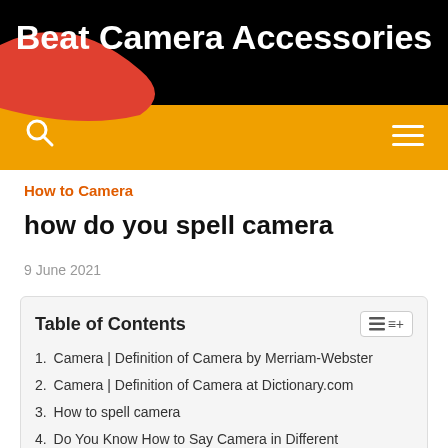[Figure (screenshot): Website header with black background, orange-red gradient wave shape, and white bold title 'Beat Camera Accessories']
Beat Camera Accessories
How to Camera
how do you spell camera
9 June 2021
Table of Contents
1. Camera | Definition of Camera by Merriam-Webster
2. Camera | Definition of Camera at Dictionary.com
3. How to spell camera
4. Do You Know How to Say Camera in Different Languages?
5. Surveillance | Definition of Surveillance by Merriam-Webster
6. Cue vs. Queue: How to Choose the Right Word